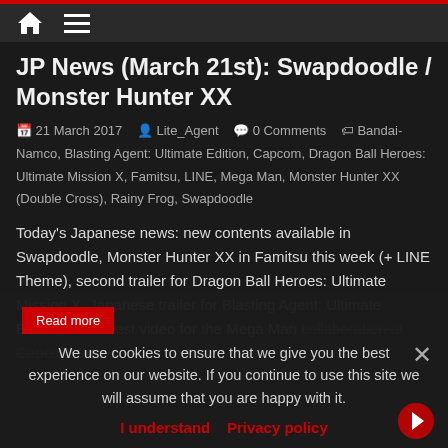Home | Menu
JP News (March 21st): Swapdoodle / Monster Hunter XX
21 March 2017   Lite_Agent   0 Comments   Bandai-Namco, Blasting Agent: Ultimate Edition, Capcom, Dragon Ball Heroes: Ultimate Mission X, Famitsu, LINE, Mega Man, Monster Hunter XX (Double Cross), Rainy Frog, Swapdoodle
Today's Japanese news: new contents available in Swapdoodle, Monster Hunter XX in Famitsu this week (+ LINE Theme), second trailer for Dragon Ball Heroes: Ultimate Mission X, Japanese trailer for Blasting Agent: Ultimate Edition, and latest video for the Mega Man collaboration at Capcom Café!
We use cookies to ensure that we give you the best experience on our website. If you continue to use this site we will assume that you are happy with it.
I understand   Privacy policy